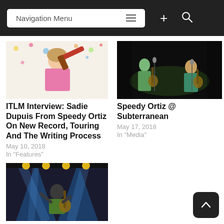Navigation Menu
[Figure (photo): Young woman with pink dress holding a colorful bat against a confetti background]
ITLM Interview: Sadie Dupuis From Speedy Ortiz On New Record, Touring And The Writing Process
May 10, 2018
In "Features"
[Figure (photo): Two musicians performing on stage with guitars at Subterranean]
Speedy Ortiz @ Subterranean
May 17, 2018
In "Media"
[Figure (photo): Musician performing on stage with dramatic blue stage lighting and spotlights at Riot Fest 2018]
Riot Fest 2018: Day 1 Review
September 16, 2018